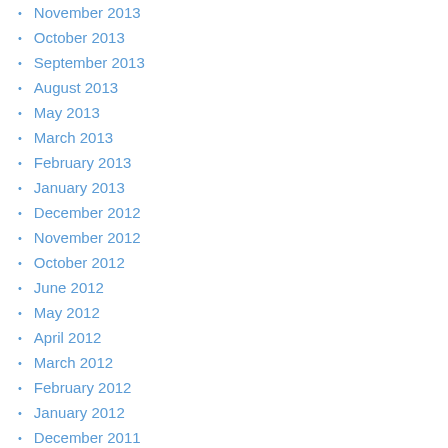November 2013
October 2013
September 2013
August 2013
May 2013
March 2013
February 2013
January 2013
December 2012
November 2012
October 2012
June 2012
May 2012
April 2012
March 2012
February 2012
January 2012
December 2011
August 2011
November 2010
August 2009